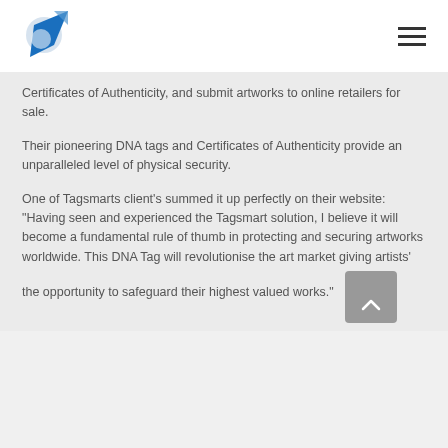[Figure (logo): Blue geometric arrow/star logo pointing upward-right with a globe icon]
[Figure (other): Hamburger menu icon (three horizontal lines)]
Certificates of Authenticity, and submit artworks to online retailers for sale.
Their pioneering DNA tags and Certificates of Authenticity provide an unparalleled level of physical security.
One of Tagsmarts client’s summed it up perfectly on their website: “Having seen and experienced the Tagsmart solution, I believe it will become a fundamental rule of thumb in protecting and securing artworks worldwide. This DNA Tag will revolutionise the art market giving artists’ the opportunity to safeguard their highest valued works.”